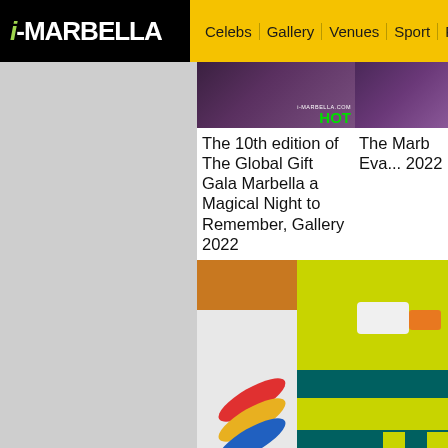[Figure (screenshot): i-MARBELLA website header with black logo on left and yellow navigation bar on right]
i-MARBELLA | Celebs | Gallery | Venues | Sport | Restau...
[Figure (photo): Thumbnail image with i-MARBELLA.COM HOT label overlay]
The 10th edition of The Global Gift Gala Marbella a Magical Night to Remember, Gallery 2022
[Figure (photo): Partially visible thumbnail of another article about The Marbella Eva... 2022]
The Marb Eva... 2022
[Figure (photo): Photo of yellow and green checkered ambulance vehicle rear, with colorful logo on left side vehicle]